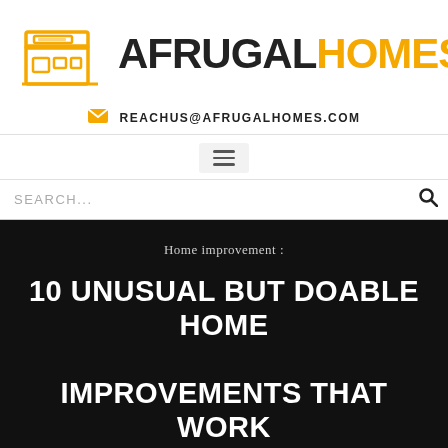[Figure (logo): AfrugalHomes logo with house icon on left and AFRUGAL in dark/black and HOMES in orange/gold text]
REACHUS@AFRUGALHOMES.COM
[Figure (other): Hamburger menu button with three horizontal lines]
SEARCH...
Home improvement :
10 UNUSUAL BUT DOABLE HOME IMPROVEMENTS THAT WORK
[Figure (photo): Three small thumbnail images at the bottom of the dark hero area]